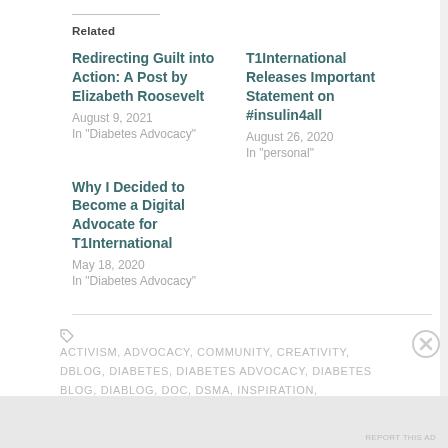Related
Redirecting Guilt into Action: A Post by Elizabeth Roosevelt
August 9, 2021
In "Diabetes Advocacy"
T1International Releases Important Statement on #insulin4all
August 26, 2020
In "personal"
Why I Decided to Become a Digital Advocate for T1International
May 18, 2020
In "Diabetes Advocacy"
ACTIVISM, ADVOCACY, COMMUNITY, CREATIVITY, DBLOG, DIABETES, DIABETES ADVOCACY, DIABETES BLOG, DIABLOG, DOC, DSMA, INSPIRATION, INSULIN4ALL
Advertisements